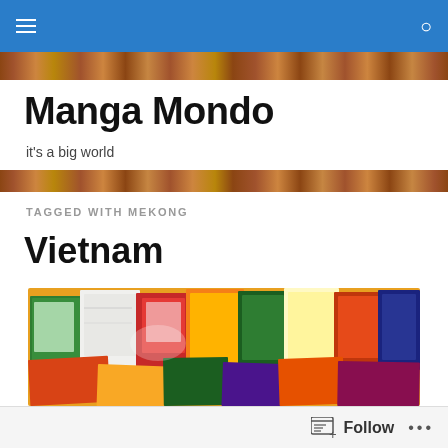Manga Mondo navigation bar
Manga Mondo
it's a big world
TAGGED WITH MEKONG
Vietnam
[Figure (photo): A spread of colorful Vietnamese postcards and paintings laid out on a surface, with bright reds, oranges, yellows and greens visible.]
Follow